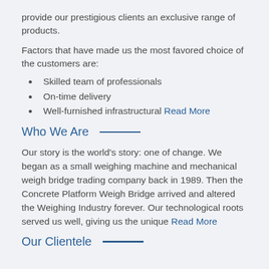provide our prestigious clients an exclusive range of products.
Factors that have made us the most favored choice of the customers are:
Skilled team of professionals
On-time delivery
Well-furnished infrastructural Read More
Who We Are
Our story is the world's story: one of change. We began as a small weighing machine and mechanical weigh bridge trading company back in 1989. Then the Concrete Platform Weigh Bridge arrived and altered the Weighing Industry forever. Our technological roots served us well, giving us the unique Read More
Our Clientele